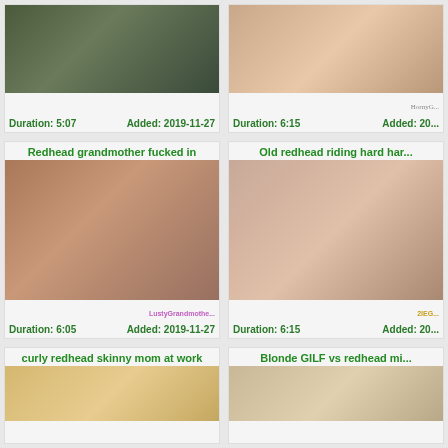[Figure (screenshot): Video thumbnail top-left: outdoor scene with people]
Duration: 5:07   Added: 2019-11-27
[Figure (screenshot): Video thumbnail top-right: HORNYO watermark]
Duration: 6:15   Added: 20...
Redhead grandmother fucked in
[Figure (screenshot): Video thumbnail middle-left: LustyGrandmothe watermark]
Duration: 6:05   Added: 2019-11-27
Old redhead riding hard har...
[Figure (screenshot): Video thumbnail middle-right: 2IEG watermark]
Duration: 6:15   Added: 20...
curly redhead skinny mom at work
[Figure (screenshot): Video thumbnail bottom-left]
Blonde GILF vs redhead mi...
[Figure (screenshot): Video thumbnail bottom-right]